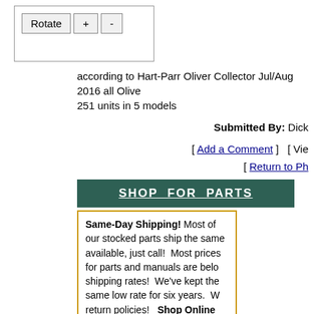[Figure (screenshot): UI widget with Rotate, +, and - buttons inside a bordered box]
according to Hart-Parr Oliver Collector Jul/Aug 2016 all Olive 251 units in 5 models
Submitted By: Dick
[ Add a Comment ]  [ Vie
[ Return to Ph
SHOP FOR PARTS
Same-Day Shipping! Most of our stocked parts ship the same available, just call! Most prices for parts and manuals are bel shipping rates! We've kept the same low rate for six years. W return policies! Shop Online Today or call our friendly sales
Home | Foru
Copyright © 1997-2022 Yes